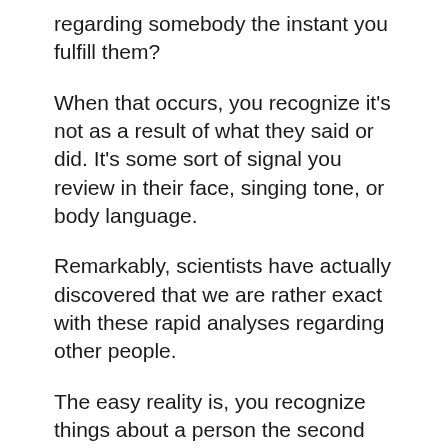regarding somebody the instant you fulfill them?
When that occurs, you recognize it’s not as a result of what they said or did. It’s some sort of signal you review in their face, singing tone, or body language.
Remarkably, scientists have actually discovered that we are rather exact with these rapid analyses regarding other people.
The easy reality is, you recognize things about a person the second you satisfy them. And also you respond to these unmentioned signals automatically.
If you’re proficient at checking out people